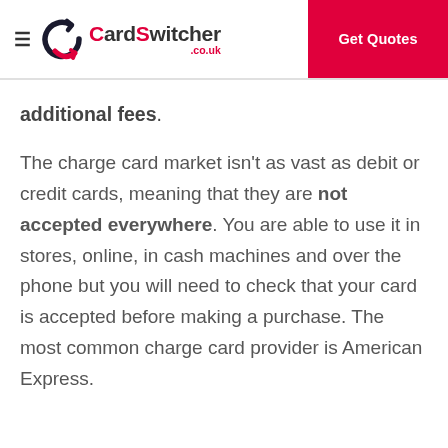CardSwitcher.co.uk | Get Quotes
additional fees.
The charge card market isn't as vast as debit or credit cards, meaning that they are not accepted everywhere. You are able to use it in stores, online, in cash machines and over the phone but you will need to check that your card is accepted before making a purchase. The most common charge card provider is American Express.